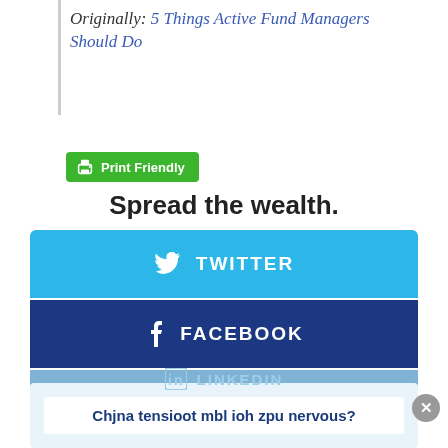Originally: 5 Things Active Fund Managers Should Do
[Figure (screenshot): Green Print Friendly button with printer icon]
Spread the wealth.
[Figure (screenshot): Twitter share button (light blue)]
[Figure (screenshot): Facebook share button (dark blue)]
[Figure (screenshot): LinkedIn share button (medium blue, partially visible)]
Chjna tensioot mbl ioh zpu nervous?